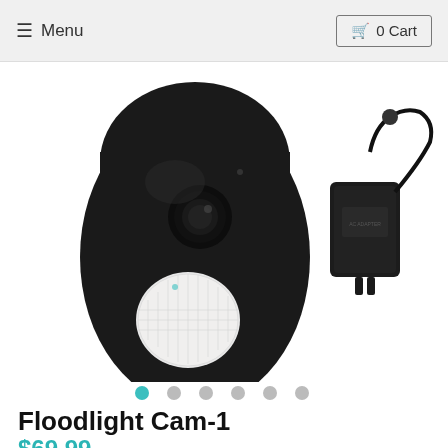≡ Menu   🛒 0 Cart
[Figure (photo): Product photo of a black Floodlight Cam-1 security camera with a circular motion sensor lens at the bottom and a camera lens in the middle, shown at an angle. To the right, a black power adapter/charger with a cable is also visible.]
[Figure (photo): Small white square thumbnail image placeholder with a border, representing the first product image thumbnail.]
Floodlight Cam-1
$69.99